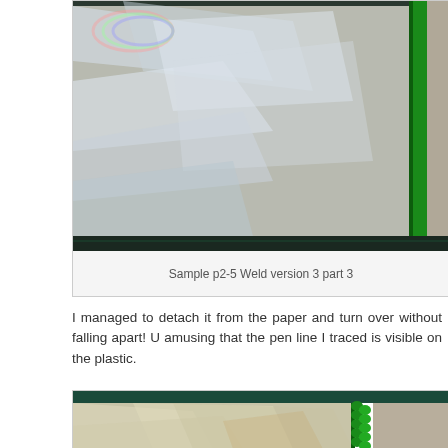[Figure (photo): Close-up photo of metallic/foil material with green tape or weld along the right edge, on a dark cutting mat background. Shows the plastic/foil material from above with a piece of cardboard visible on the right.]
Sample p2-5 Weld version 3 part 3
I managed to detach it from the paper and turn over without falling apart! U amusing that the pen line I traced is visible on the plastic.
[Figure (photo): Close-up photo of the underside of a metallic/foil material showing a green decorative or welded edge on the right side, with the foil appearing crinkled/reflective. Cardboard visible on the right.]